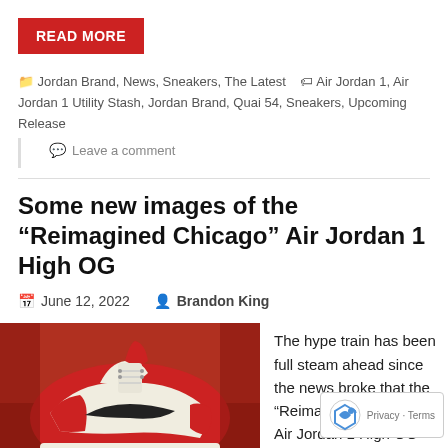READ MORE
Jordan Brand, News, Sneakers, The Latest   Air Jordan 1, Air Jordan 1 Utility Stash, Jordan Brand, Quai 54, Sneakers, Upcoming Release
Leave a comment
Some new images of the “Reimagined Chicago” Air Jordan 1 High OG
June 12, 2022   Brandon King
[Figure (photo): Photo of red and white Air Jordan 1 High OG sneakers held up against a red background]
The hype train has been full steam ahead since the news broke that the “Reimagined Chicago” Air Jordan 1 High OG was c... to retail later t... With the cracked white